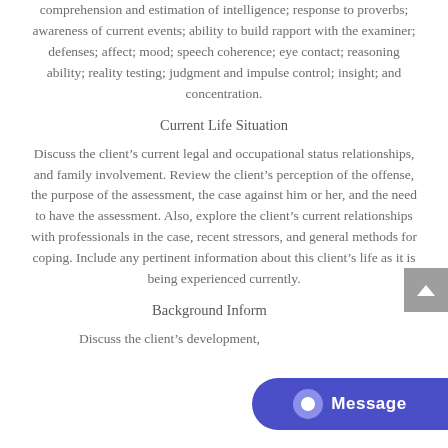comprehension and estimation of intelligence; response to proverbs; awareness of current events; ability to build rapport with the examiner; defenses; affect; mood; speech coherence; eye contact; reasoning ability; reality testing; judgment and impulse control; insight; and concentration.
Current Life Situation
Discuss the client’s current legal and occupational status relationships, and family involvement. Review the client’s perception of the offense, the purpose of the assessment, the case against him or her, and the need to have the assessment. Also, explore the client’s current relationships with professionals in the case, recent stressors, and general methods for coping. Include any pertinent information about this client’s life as it is being experienced currently.
Background Information
Discuss the client’s development, family experiences,